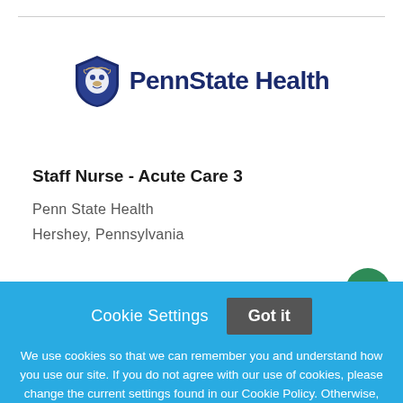[Figure (logo): PennState Health logo with lion shield icon and bold dark blue text]
Staff Nurse - Acute Care 3
Penn State Health
Hershey, Pennsylvania
Cookie Settings  Got it
We use cookies so that we can remember you and understand how you use our site. If you do not agree with our use of cookies, please change the current settings found in our Cookie Policy. Otherwise, you agree to the use of the cookies as they are currently set.